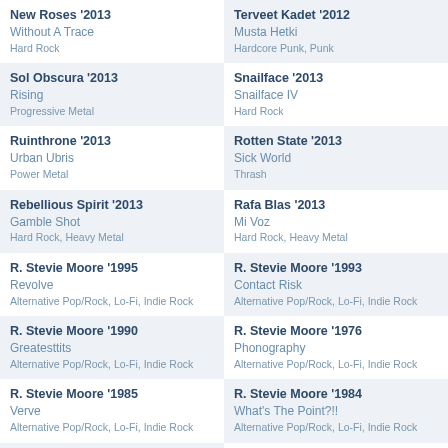New Roses '2013 | Without A Trace | Hard Rock
Terveet Kadet '2012 | Musta Hetki | Hardcore Punk, Punk
Sol Obscura '2013 | Rising | Progressive Metal
Snailface '2013 | Snailface IV | Hard Rock
Ruinthrone '2013 | Urban Ubris | Power Metal
Rotten State '2013 | Sick World | Thrash
Rebellious Spirit '2013 | Gamble Shot | Hard Rock, Heavy Metal
Rafa Blas '2013 | Mi Voz | Hard Rock, Heavy Metal
R. Stevie Moore '1995 | Revolve | Alternative Pop/Rock, Lo-Fi, Indie Rock
R. Stevie Moore '1993 | Contact Risk | Alternative Pop/Rock, Lo-Fi, Indie Rock
R. Stevie Moore '1990 | Greatesttits | Alternative Pop/Rock, Lo-Fi, Indie Rock
R. Stevie Moore '1976 | Phonography | Alternative Pop/Rock, Lo-Fi, Indie Rock
R. Stevie Moore '1985 | Verve | Alternative Pop/Rock, Lo-Fi, Indie Rock
R. Stevie Moore '1984 | What's The Point?!! | Alternative Pop/Rock, Lo-Fi, Indie Rock
R. Stevie Moore '1999 | The Future Is Worse Than
R. Stevie Moore '2002 | Fairmeore (Split)